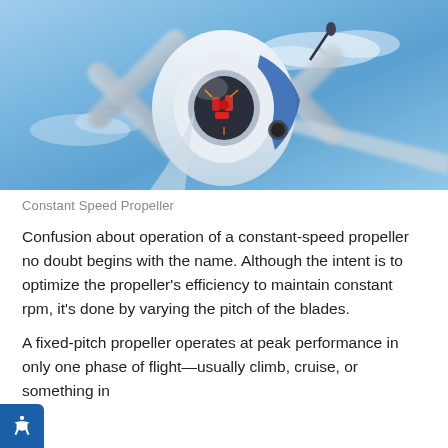[Figure (photo): Photograph of a constant speed propeller on an aircraft, viewed from front-below angle, showing internal mechanism with red components visible through cutaway hub, white and blue fuselage against blue sky with clouds, propeller blades spinning]
Constant Speed Propeller
Confusion about operation of a constant-speed propeller no doubt begins with the name. Although the intent is to optimize the propeller's efficiency to maintain constant rpm, it's done by varying the pitch of the blades.
A fixed-pitch propeller operates at peak performance in only one phase of flight—usually climb, cruise, or something in between. The constant-speed propeller, by contrast, automatically adjusts its blade pitch to maintain a selected rpm throughout a wider range of flight conditions.